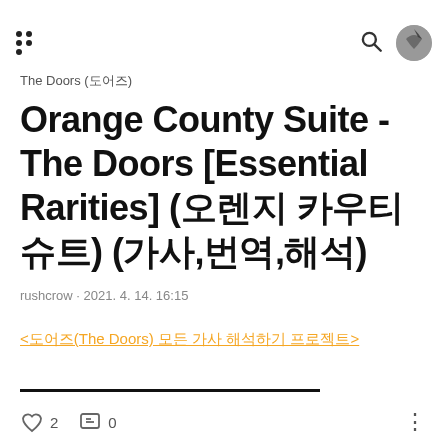Header with menu icon, search icon, and avatar
The Doors (도어즈)
Orange County Suite - The Doors [Essential Rarities] (오렌지 카우티 슈트) (가사,번역,해석)
rushcrow · 2021. 4. 14. 16:15
<도어즈(The Doors) 모든 가사 해석하기 프로젝트>
♡ 2  💬 0